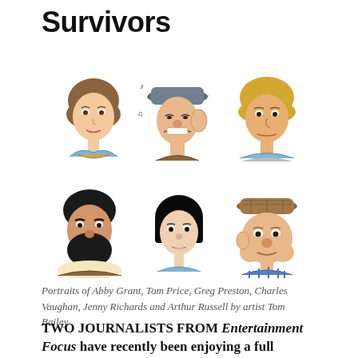Survivors
[Figure (illustration): Six cartoon portrait illustrations of characters: top row left to right - Abby Grant (woman with brown hair), Tom Price (man with hat and grimacing expression), Greg Preston (man with blonde hair); bottom row left to right - Charles Vaughan (man with black beard), Jenny Richards (woman with black bob hair), Arthur Russell (older man with brown hat). Illustrated by artist Tom Bailey.]
Portraits of Abby Grant, Tom Price, Greg Preston, Charles Vaughan, Jenny Richards and Arthur Russell by artist Tom Bailey
TWO JOURNALISTS FROM Entertainment Focus have recently been enjoying a full rewatch of all 28 episodes of Survivors from all three series